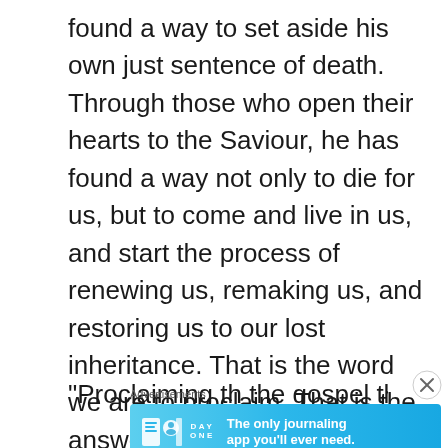found a way to set aside his own just sentence of death. Through those who open their hearts to the Saviour, he has found a way not only to die for us, but to come and live in us, and start the process of renewing us, remaking us, and restoring us to our lost inheritance. That is the word we are to proclaim. That is the answer we Christians have to the increasingly obvious hurt and heartache of human need all around. It is the most effective thing we can do in our day.
"Proclaiming the gospel the world" Th...
[Figure (other): Day One journaling app advertisement banner with blue gradient background, app icons, and tagline 'The only journaling app you'll ever need.']